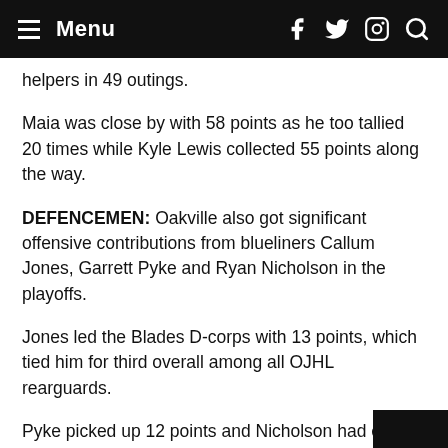Menu
helpers in 49 outings.
Maia was close by with 58 points as he too tallied 20 times while Kyle Lewis collected 55 points along the way.
DEFENCEMEN: Oakville also got significant offensive contributions from blueliners Callum Jones, Garrett Pyke and Ryan Nicholson in the playoffs.
Jones led the Blades D-corps with 13 points, which tied him for third overall among all OJHL rearguards.
Pyke picked up 12 points and Nicholson had eight as all three finished in the Top 10 in D-men scoring in the playoffs.
On the back end, Pyke led all OJHL defencemen in scoring with 55 points during the regular season as registered 12 goals and provided 43 assists.